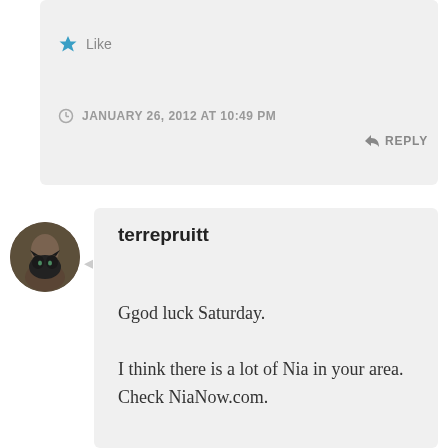Like
JANUARY 26, 2012 AT 10:49 PM
REPLY
terrepruitt
Ggod luck Saturday.

I think there is a lot of Nia in your area. Check NiaNow.com.